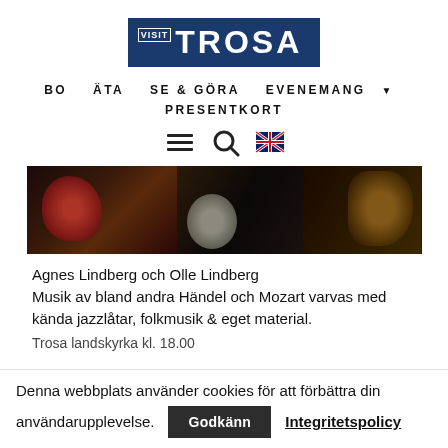[Figure (logo): Visit Trosa logo — dark blue rectangle with VISIT in small white text and TROSA in large white bold letters]
BO   ÄTA   SE & GÖRA   EVENEMANG ▾   PRESENTKORT
[Figure (infographic): Navigation icon row: hamburger menu icon, search magnifying glass icon, UK flag icon]
[Figure (photo): Dark photo band showing musicians playing instruments including guitar, with red and dark tones]
Agnes Lindberg och Olle Lindberg
Musik av bland andra Händel och Mozart varvas med kända jazzlåtar, folkmusik & eget material.
Trosa landskyrka kl. 18.00
Denna webbplats använder cookies för att förbättra din användarupplevelse.
Godkänn   Integritetspolicy